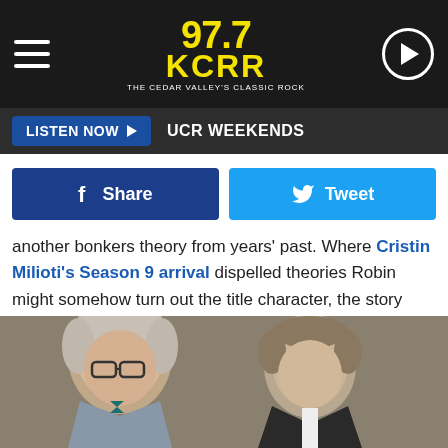[Figure (screenshot): 97.7 KCRR radio station header with logo, hamburger menu, and play button on dark background]
LISTEN NOW ▶  UCR WEEKENDS
[Figure (infographic): Facebook Share button and Twitter Tweet button side by side]
another bonkers theory from years' past. Where Cristin Milioti's Season 9 arrival dispelled theories Robin might somehow turn out the title character, the story really was all about her all along. Ted only talked up Robin so his kids would accept him running back to his old girlfriend after the real mother's death a few years prior. Yeesh.
[Figure (photo): Photo of two men, one older with glasses and a teal bow tie in a grey suit, and one younger man in a dark jacket]